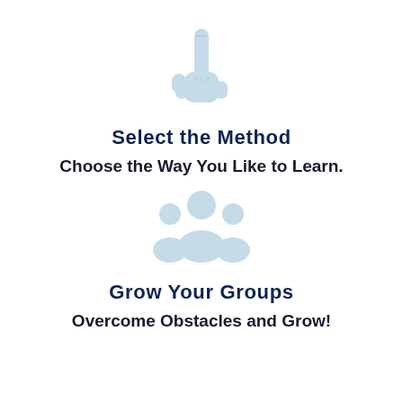[Figure (illustration): Light blue hand pointer / index finger pointing upward icon]
Select the Method
Choose the Way You Like to Learn.
[Figure (illustration): Light blue group of people / team icon with three figures]
Grow Your Groups
Overcome Obstacles and Grow!